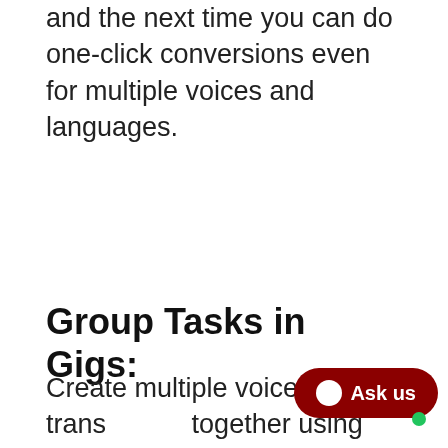and the next time you can do one-click conversions even for multiple voices and languages.
Group Tasks in Gigs:
Create multiple voice-overs & trans[lations] together using gigs. Track your conv[ersions] and download everything from one place.